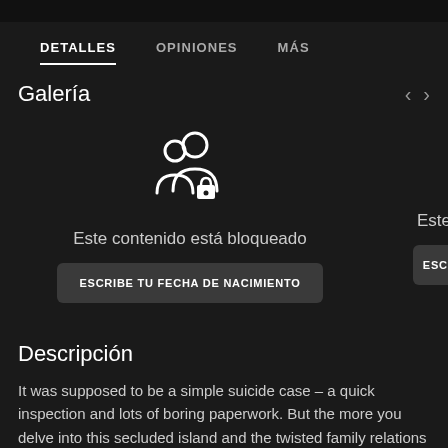DETALLES  OPINIONES  MÁS
Galería
[Figure (illustration): Icon showing two people silhouettes with a padlock, indicating blocked content]
Este contenido está bloqueado
ESCRIBE TU FECHA DE NACIMIENTO
Este con
ESCRIBE
Descripción
It was supposed to be a simple suicide case – a quick inspection and lots of boring paperwork. But the more you delve into this secluded island and the twisted family relations of the owners